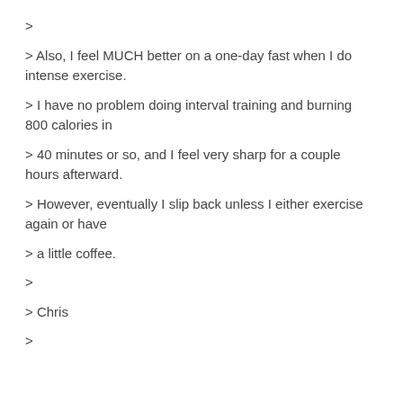>
> Also, I feel MUCH better on a one-day fast when I do intense exercise.
> I have no problem doing interval training and burning 800 calories in
> 40 minutes or so, and I feel very sharp for a couple hours afterward.
> However, eventually I slip back unless I either exercise again or have
> a little coffee.
>
> Chris
>